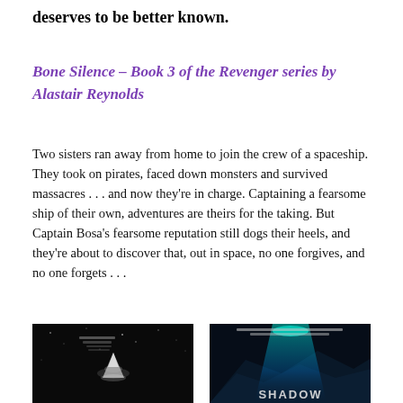deserves to be better known.
Bone Silence – Book 3 of the Revenger series by Alastair Reynolds
Two sisters ran away from home to join the crew of a spaceship. They took on pirates, faced down monsters and survived massacres . . . and now they're in charge. Captaining a fearsome ship of their own, adventures are theirs for the taking. But Captain Bosa's fearsome reputation still dogs their heels, and they're about to discover that, out in space, no one forgives, and no one forgets . . .
[Figure (photo): Dark science fiction book cover — likely Bone Silence by Alastair Reynolds, showing a spaceship/dark space scene in black and white]
[Figure (photo): Dark science fiction book cover — showing teal/blue light against dark background with text 'SHADOW' visible at bottom]